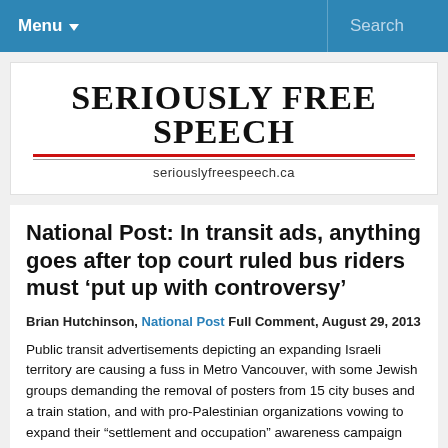Menu   Search
[Figure (logo): Seriously Free Speech logo with red and gray lines and URL seriouslyfreespeech.ca]
National Post: In transit ads, anything goes after top court ruled bus riders must ‘put up with controversy’
Brian Hutchinson, National Post Full Comment, August 29, 2013
Public transit advertisements depicting an expanding Israeli territory are causing a fuss in Metro Vancouver, with some Jewish groups demanding the removal of posters from 15 city buses and a train station, and with pro-Palestinian organizations vowing to expand their “settlement and occupation” awareness campaign across Canada.
“We think it’s particularly important that people in Vancouver and other Canadian cities learn about what’s happening in Palestine now and